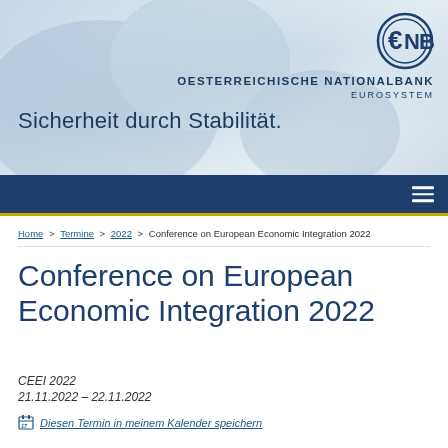[Figure (logo): ONB (Oesterreichische Nationalbank) header banner with logo, slogan 'Sicherheit durch Stabilität.' and blue decorative background]
Home > Termine > 2022 > Conference on European Economic Integration 2022
Conference on European Economic Integration 2022
CEEI 2022
21.11.2022 – 22.11.2022
Diesen Termin in meinem Kalender speichern